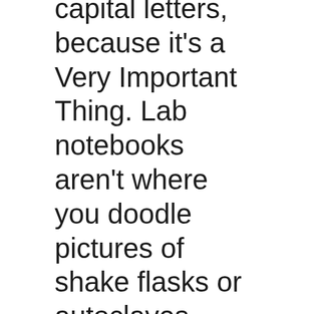capital letters, because it's a Very Important Thing. Lab notebooks aren't where you doodle pictures of shake flasks or autoclaves, they're a very formal thing with strict rules. They're essentially a record of everything you do and think, which can be used in legal situations - a bit like a journalist or a police officer's notebook, I suppose.
Sam Bleckley has written a great post about how software